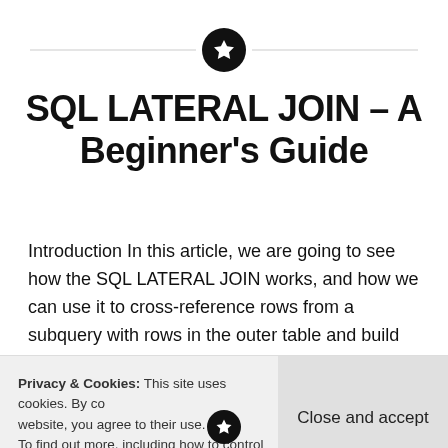[Figure (illustration): Decorative horizontal line with black circle containing a white star icon, centered at top of page]
SQL LATERAL JOIN – A Beginner's Guide
Introduction In this article, we are going to see how the SQL LATERAL JOIN works, and how we can use it to cross-reference rows from a subquery with rows in the outer table and build compound result sets. A LATERAL JOIN can be used either
Privacy & Cookies: This site uses cookies. By continuing to use this website, you agree to their use.
To find out more, including how to control cookies, see here: Cookie Policy
Close and accept